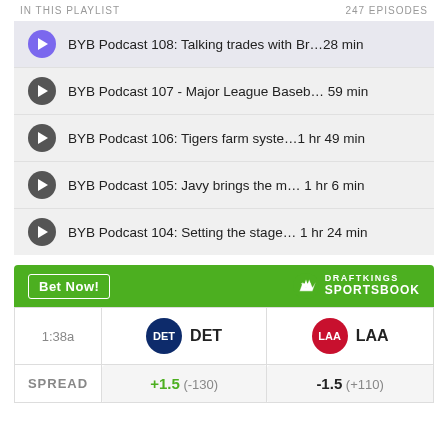IN THIS PLAYLIST   247 EPISODES
BYB Podcast 108: Talking trades with Br…28 min
BYB Podcast 107 - Major League Baseb… 59 min
BYB Podcast 106: Tigers farm syste…1 hr 49 min
BYB Podcast 105: Javy brings the m…  1 hr 6 min
BYB Podcast 104: Setting the stage… 1 hr 24 min
|  | DET | LAA |
| --- | --- | --- |
| 1:38a | DET | LAA |
| SPREAD | +1.5  (-130) | -1.5  (+110) |